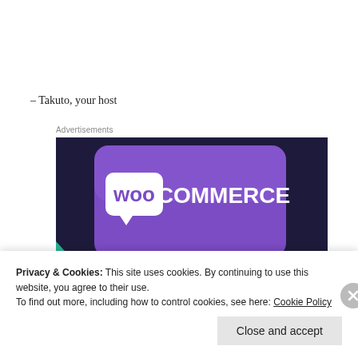– Takuto, your host
Advertisements
[Figure (illustration): WooCommerce advertisement banner showing the WooCommerce logo on a purple background with teal geometric shapes and text 'Turn your hobby into']
Privacy & Cookies: This site uses cookies. By continuing to use this website, you agree to their use.
To find out more, including how to control cookies, see here: Cookie Policy
Close and accept